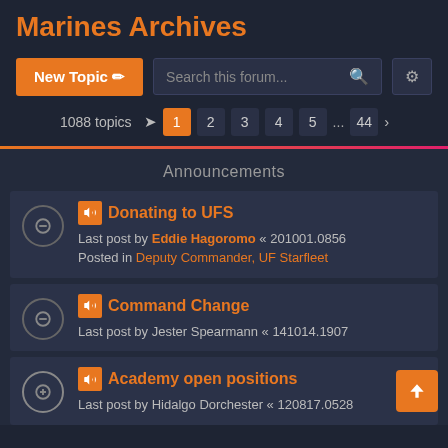Marines Archives
New Topic | Search this forum...
1088 topics 1 2 3 4 5 ... 44 >
Announcements
Donating to UFS - Last post by Eddie Hagoromo « 201001.0856 - Posted in Deputy Commander, UF Starfleet
Command Change - Last post by Jester Spearmann « 141014.1907
Academy open positions - Last post by Hidalgo Dorchester « 120817.0528